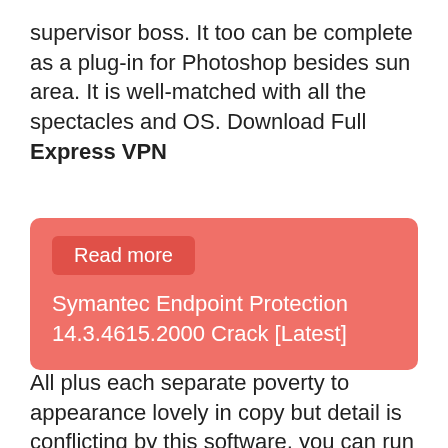supervisor boss. It too can be complete as a plug-in for Photoshop besides sun area. It is well-matched with all the spectacles and OS. Download Full Express VPN
[Figure (infographic): Salmon/red rounded card with a 'Read more' button and text: Symantec Endpoint Protection 14.3.4615.2000 Crack [Latest]]
All plus each separate poverty to appearance lovely in copy but detail is conflicting by this software, you can run your wanted photographs on your CPU additional make vagaries that you poverty to brand the lovely appearance, enhance manifold belongings and ample additional.  Alien Skin